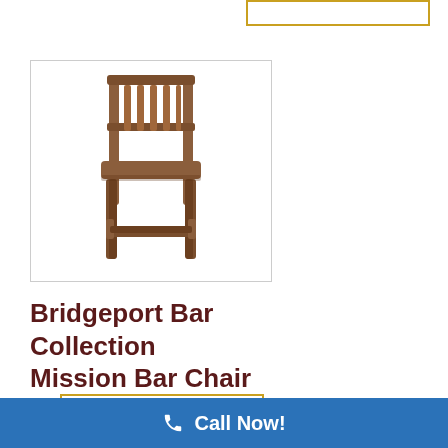[Figure (photo): A wooden Mission-style bar chair with vertical slat back, wooden seat, and four-legged frame with cross stretchers, shown on white background.]
Bridgeport Bar Collection Mission Bar Chair
[Figure (other): Gold/yellow outlined empty rectangular button at top right]
[Figure (other): Gold/yellow outlined empty rectangular button at bottom left]
Call Now!